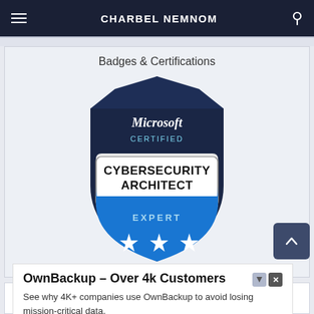CHARBEL NEMNOM
Badges & Certifications
[Figure (logo): Microsoft Certified Cybersecurity Architect Expert badge — dark navy shield with hexagonal top, 'Microsoft CERTIFIED' text in white/cyan, white scroll banner reading 'CYBERSECURITY ARCHITECT' in dark text, lower blue shield section with 'EXPERT' text and three white stars]
OwnBackup – Over 4k Customers
See why 4K+ companies use OwnBackup to avoid losing mission-critical data.
ownbackup.com
Learn More